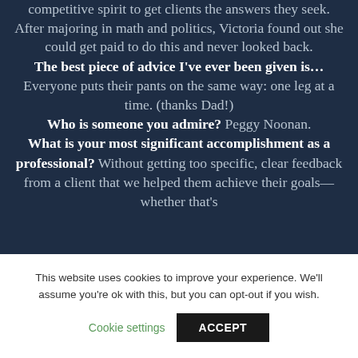competitive spirit to get clients the answers they seek. After majoring in math and politics, Victoria found out she could get paid to do this and never looked back.
The best piece of advice I've ever been given is... Everyone puts their pants on the same way: one leg at a time. (thanks Dad!)
Who is someone you admire? Peggy Noonan.
What is your most significant accomplishment as a professional? Without getting too specific, clear feedback from a client that we helped them achieve their goals—whether that's
This website uses cookies to improve your experience. We'll assume you're ok with this, but you can opt-out if you wish.
Cookie settings   ACCEPT